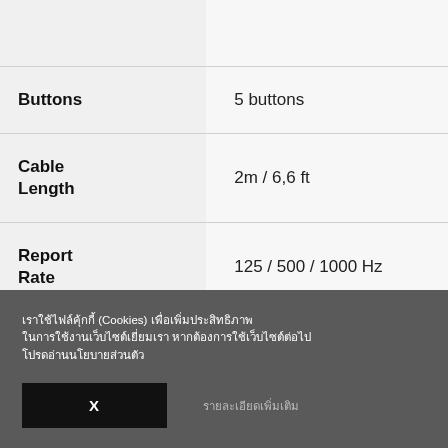| Attribute | Value |
| --- | --- |
| Buttons | 5 buttons |
| Cable Length | 2m / 6,6 ft |
| Report Rate | 125 / 500 / 1000 Hz |
| Size | Medium |
| Design | Symmetrical |
(Cookies) [Thai language cookie consent text]